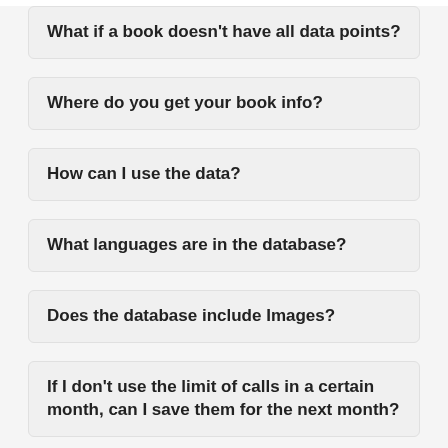What if a book doesn't have all data points?
Where do you get your book info?
How can I use the data?
What languages are in the database?
Does the database include Images?
If I don't use the limit of calls in a certain month, can I save them for the next month?
Why is my book not listed here?
Can I use a different backend?